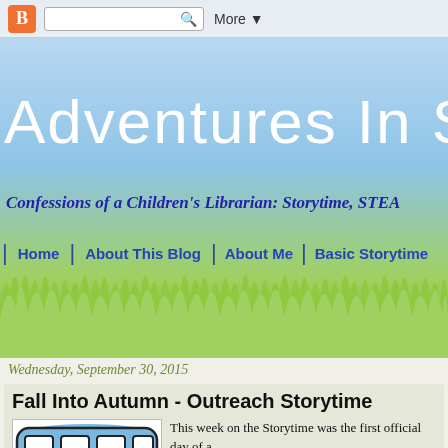B [search box] More ▼
Adventures In Sto
Confessions of a Children's Librarian: Storytime, STEA
Home | About This Blog | About Me | Basic Storytime
[Figure (illustration): Decorative green grass silhouette against light blue sky background]
Wednesday, September 30, 2015
Fall Into Autumn - Outreach Storytime
[Figure (illustration): Illustration of a blue school bus, cropped showing top portion with windows]
This week on the Storytime was the first official day of a